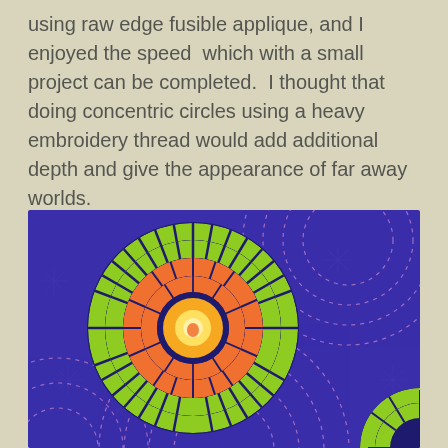using raw edge fusible applique, and I enjoyed the speed  which with a small project can be completed.  I thought that doing concentric circles using a heavy embroidery thread would add additional depth and give the appearance of far away worlds.
[Figure (photo): Close-up photograph of a textile/quilt artwork featuring concentric circles made from small square fabric patches in lime green and orange arranged on a deep purple background with dashed circular stitching lines visible.]